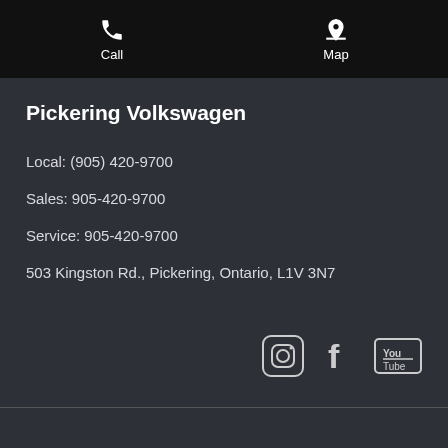Call | Map
Pickering Volkswagen
Local: (905) 420-9700
Sales: 905-420-9700
Service: 905-420-9700
503 Kingston Rd., Pickering, Ontario, L1V 3N7
[Figure (logo): Social media icons: Instagram, Facebook, YouTube]